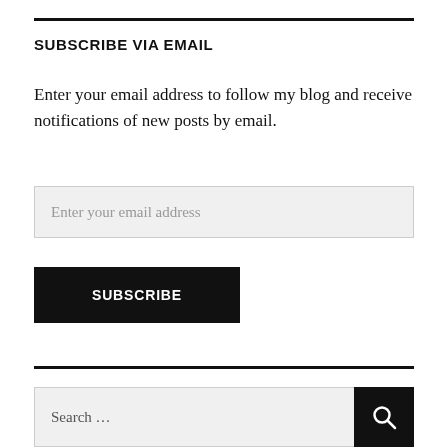SUBSCRIBE VIA EMAIL
Enter your email address to follow my blog and receive notifications of new posts by email.
Enter your email address
SUBSCRIBE
Search …